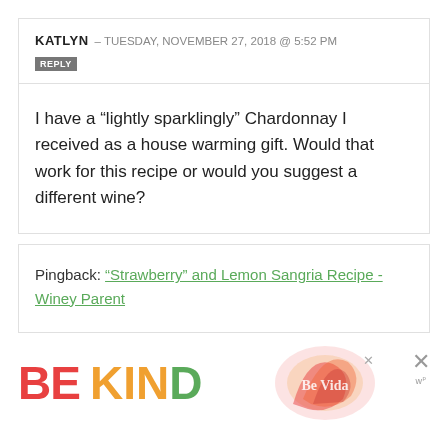KATLYN – TUESDAY, NOVEMBER 27, 2018 @ 5:52 PM
I have a “lightly sparklingly” Chardonnay I received as a house warming gift. Would that work for this recipe or would you suggest a different wine?
Pingback: “Strawberry” and Lemon Sangria Recipe - Winey Parent
[Figure (infographic): BE KIND advertisement banner with colorful decorative graphic and close button]